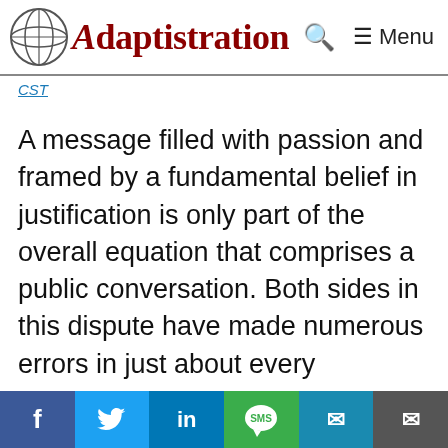Adaptistration | Menu
CST
A message filled with passion and framed by a fundamental belief in justification is only part of the overall equation that comprises a public conversation. Both sides in this dispute have made numerous errors in just about every component of this equation and as
f  [Twitter bird]  in  SMS  [email]  [email]